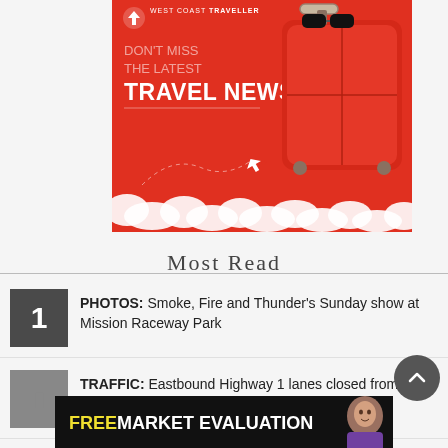[Figure (illustration): West Coast Traveller advertisement banner with red background, suitcase, sunglasses, clouds, and paper plane. Text: WEST COAST TRAVELLER, DON'T MISS THE LATEST TRAVEL NEWS!]
Most Read
1 PHOTOS: Smoke, Fire and Thunder's Sunday show at Mission Raceway Park
2 TRAFFIC: Eastbound Highway 1 lanes closed from crash
[Figure (illustration): Bottom advertisement: FREE MARKET EVALUATION with a woman photo on the right]